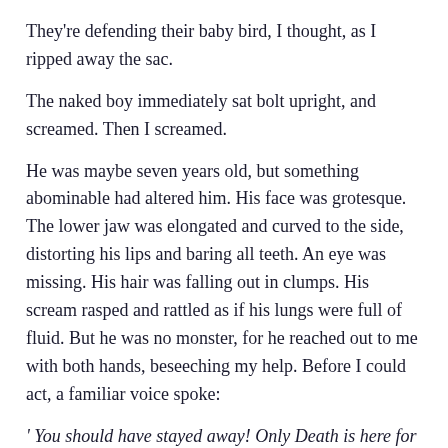They're defending their baby bird, I thought, as I ripped away the sac.
The naked boy immediately sat bolt upright, and screamed. Then I screamed.
He was maybe seven years old, but something abominable had altered him. His face was grotesque. The lower jaw was elongated and curved to the side, distorting his lips and baring all teeth. An eye was missing. His hair was falling out in clumps. His scream rasped and rattled as if his lungs were full of fluid. But he was no monster, for he reached out to me with both hands, beseeching my help. Before I could act, a familiar voice spoke:
' You should have stayed away! Only Death is here for you.'